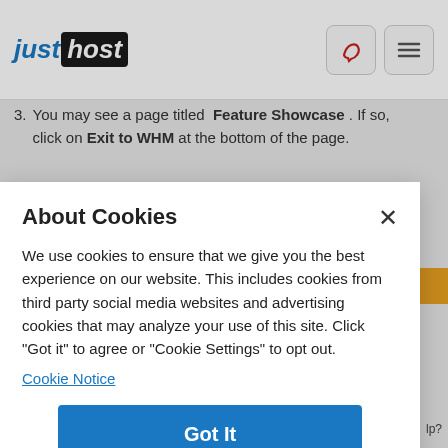[Figure (logo): JustHost logo with 'just' in blue italic and 'host' in white on black rounded rectangle]
3. You may see a page titled Feature Showcase . If so, click on Exit to WHM at the bottom of the page.
About Cookies
We use cookies to ensure that we give you the best experience on our website. This includes cookies from third party social media websites and advertising cookies that may analyze your use of this site. Click "Got it" to agree or "Cookie Settings" to opt out.
Cookie Notice
Got It
Cookies Settings